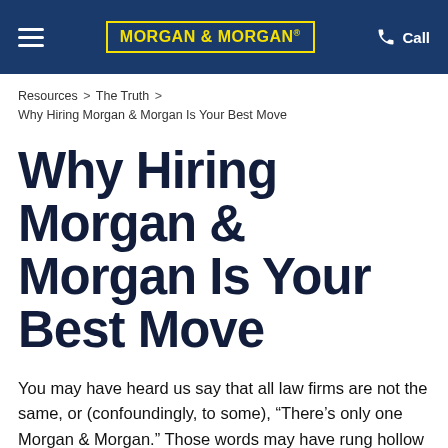MORGAN & MORGAN — Call
Resources > The Truth > Why Hiring Morgan & Morgan Is Your Best Move
Why Hiring Morgan & Morgan Is Your Best Move
You may have heard us say that all law firms are not the same, or (confoundingly, to some), “There’s only one Morgan & Morgan.” Those words may have rung hollow to you, especially if they came from a man in a suit asking if